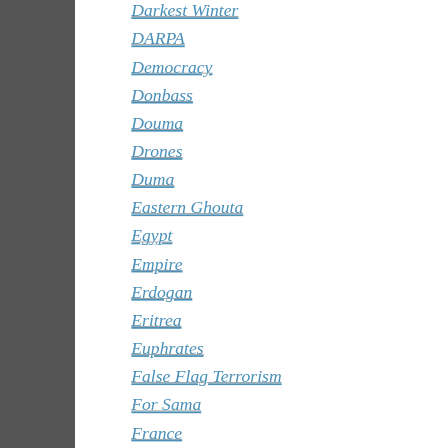Darkest Winter
DARPA
Democracy
Donbass
Douma
Drones
Duma
Eastern Ghouta
Egypt
Empire
Erdogan
Eritrea
Euphrates
False Flag Terrorism
For Sama
France